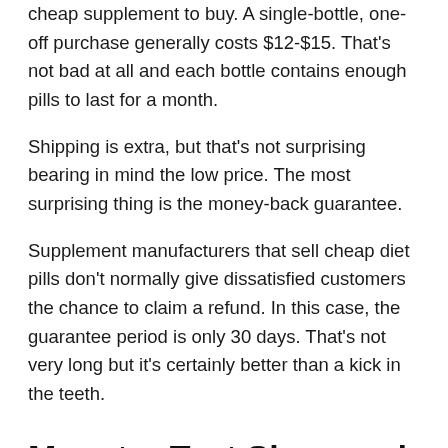cheap supplement to buy. A single-bottle, one-off purchase generally costs $12-$15. That's not bad at all and each bottle contains enough pills to last for a month.
Shipping is extra, but that's not surprising bearing in mind the low price. The most surprising thing is the money-back guarantee.
Supplement manufacturers that sell cheap diet pills don't normally give dissatisfied customers the chance to claim a refund. In this case, the guarantee period is only 30 days. That's not very long but it's certainly better than a kick in the teeth.
Monster Test Sleep and Grow Reviews Conclusion